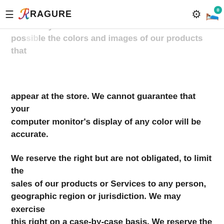RAGURE
We have made every effort to display as accurately as possible the colors and images of our products that appear at the store. We cannot guarantee that your computer monitor's display of any color will be accurate.
We reserve the right but are not obligated, to limit the sales of our products or Services to any person, geographic region or jurisdiction. We may exercise this right on a case-by-case basis. We reserve the right to limit the quantities of any products or services that we offer. All descriptions of products or product pricing are subject to change at any time without notice, at the sole discretion of us. We reserve the right